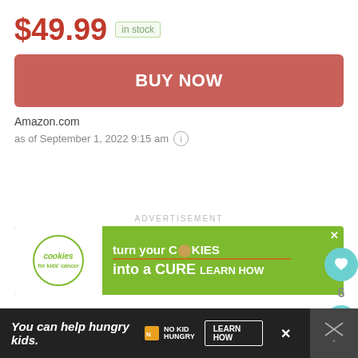$49.99  in stock
BUY NOW
Amazon.com
as of September 1, 2022 9:15 am
ADVERTISEMENT
[Figure (infographic): Cookies for kids cancer advertisement banner: green background with white circle logo showing 'cookies for kids cancer', text reads 'turn your COOKIES into a CURE LEARN HOW']
You can help hungry kids.  NO KID HUNGRY  LEARN HOW